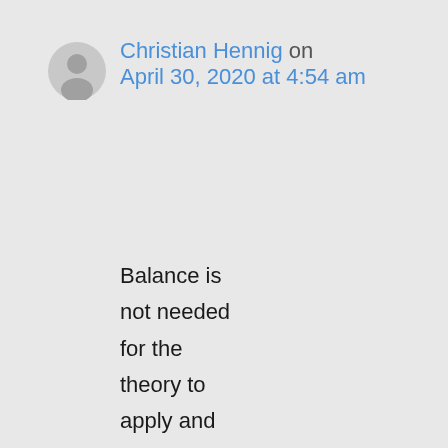[Figure (illustration): Generic user avatar icon — a grey circle with a silhouette of a person]
Christian Hennig on April 30, 2020 at 4:54 am
Balance is not needed for the theory to apply and for randomisation to achieve what the theory